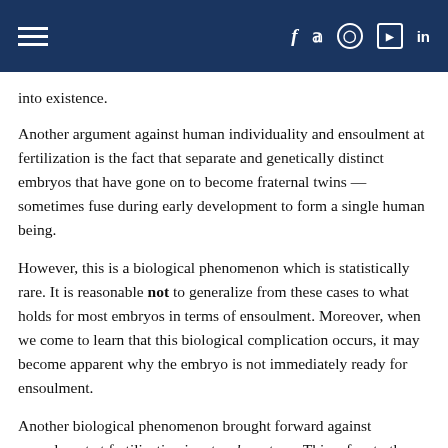Navigation header with hamburger menu and social media icons (Facebook, Twitter, Instagram, YouTube, LinkedIn)
into existence.
Another argument against human individuality and ensoulment at fertilization is the fact that separate and genetically distinct embryos that have gone on to become fraternal twins — sometimes fuse during early development to form a single human being.
However, this is a biological phenomenon which is statistically rare. It is reasonable not to generalize from these cases to what holds for most embryos in terms of ensoulment. Moreover, when we come to learn that this biological complication occurs, it may become apparent why the embryo is not immediately ready for ensoulment.
Another biological phenomenon brought forward against ensoulment at fertilization is natural wastage. This refers to the failure of early embryos to implant in a woman's uterus in order to continue their development. Such embryos are then discharged from the woman's body. Although estimates of the frequency of this vary, some claim that between two-thirds and three-quarters